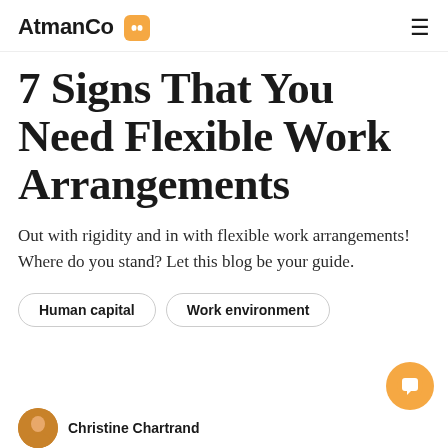AtmanCo
7 Signs That You Need Flexible Work Arrangements
Out with rigidity and in with flexible work arrangements! Where do you stand? Let this blog be your guide.
Human capital
Work environment
Christine Chartrand